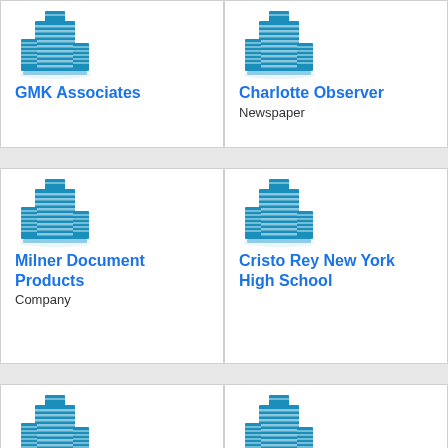[Figure (logo): Building/company icon for GMK Associates]
GMK Associates
[Figure (logo): Building/company icon for Charlotte Observer]
Charlotte Observer
Newspaper
[Figure (logo): Building/company icon for Milner Document Products]
Milner Document Products
Company
[Figure (logo): Building/company icon for Cristo Rey New York High School]
Cristo Rey New York High School
[Figure (logo): Building/company icon (bottom left, partially visible)]
[Figure (logo): Building/company icon (bottom right, partially visible)]